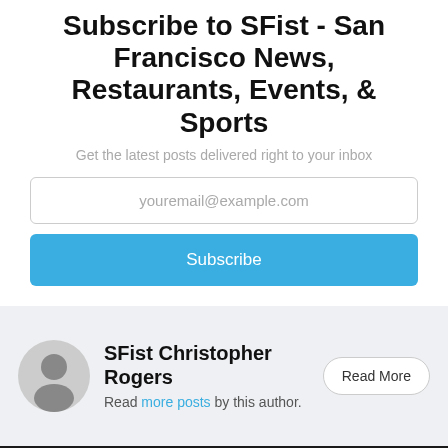Subscribe to SFist - San Francisco News, Restaurants, Events, & Sports
Get the latest posts delivered right to your inbox
youremail@example.com
Subscribe
SFist Christopher Rogers
Read more posts by this author.
Read More
SFist © 2022 • SFist Jobs • Best of San Francisco
Privacy Policy
Latest Posts • Facebook • Twitter